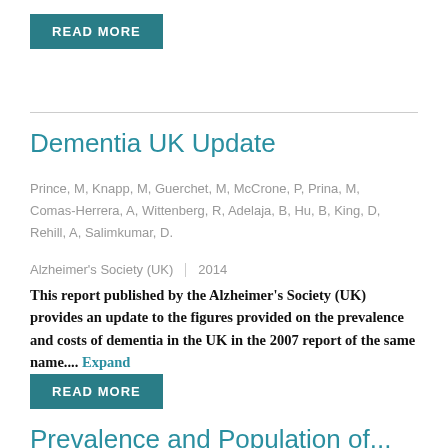READ MORE
Dementia UK Update
Prince, M, Knapp, M, Guerchet, M, McCrone, P, Prina, M, Comas-Herrera, A, Wittenberg, R, Adelaja, B, Hu, B, King, D, Rehill, A, Salimkumar, D.
Alzheimer's Society (UK) | 2014
This report published by the Alzheimer's Society (UK) provides an update to the figures provided on the prevalence and costs of dementia in the UK in the 2007 report of the same name.... Expand
READ MORE
Prevalence and Population of...